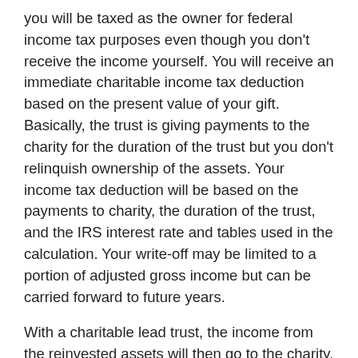you will be taxed as the owner for federal income tax purposes even though you don't receive the income yourself. You will receive an immediate charitable income tax deduction based on the present value of your gift. Basically, the trust is giving payments to the charity for the duration of the trust but you don't relinquish ownership of the assets. Your income tax deduction will be based on the payments to charity, the duration of the trust, and the IRS interest rate and tables used in the calculation. Your write-off may be limited to a portion of adjusted gross income but can be carried forward to future years.
With a charitable lead trust, the income from the reinvested assets will then go to the charity. The charity will receive distributions for the duration of the trust. You may specify that the trust last for a set number of years or the life of you or someone else. At the end of this period, the remaining assets are paid to you or your beneficiaries, for example.
A charitable lead trust may also help reduce family